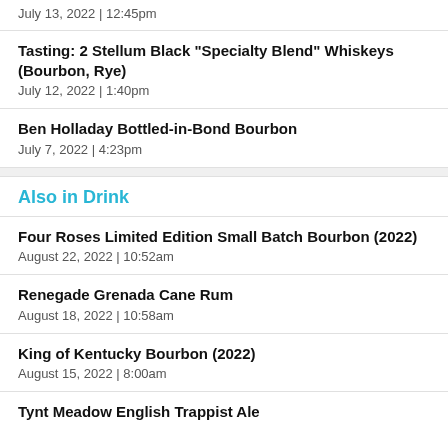July 13, 2022  |  12:45pm
Tasting: 2 Stellum Black "Specialty Blend" Whiskeys (Bourbon, Rye)
July 12, 2022  |  1:40pm
Ben Holladay Bottled-in-Bond Bourbon
July 7, 2022  |  4:23pm
Also in Drink
Four Roses Limited Edition Small Batch Bourbon (2022)
August 22, 2022  |  10:52am
Renegade Grenada Cane Rum
August 18, 2022  |  10:58am
King of Kentucky Bourbon (2022)
August 15, 2022  |  8:00am
Tynt Meadow English Trappist Ale